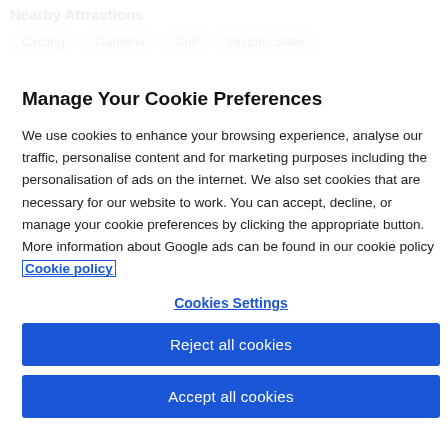Nearby Attractions
Cycling
Gardens
Golf
Historic Sites
Manage Your Cookie Preferences
We use cookies to enhance your browsing experience, analyse our traffic, personalise content and for marketing purposes including the personalisation of ads on the internet. We also set cookies that are necessary for our website to work. You can accept, decline, or manage your cookie preferences by clicking the appropriate button. More information about Google ads can be found in our cookie policy Cookie policy
Cookies Settings
Reject all cookies
Accept all cookies